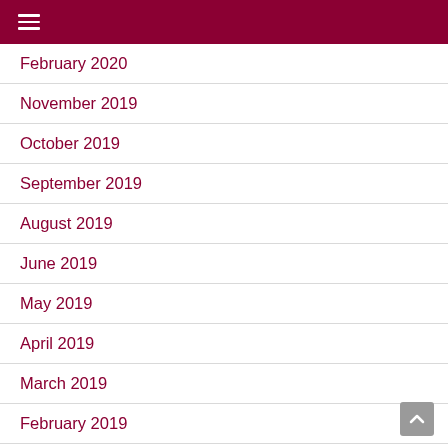≡
February 2020
November 2019
October 2019
September 2019
August 2019
June 2019
May 2019
April 2019
March 2019
February 2019
October 2018
September 2018